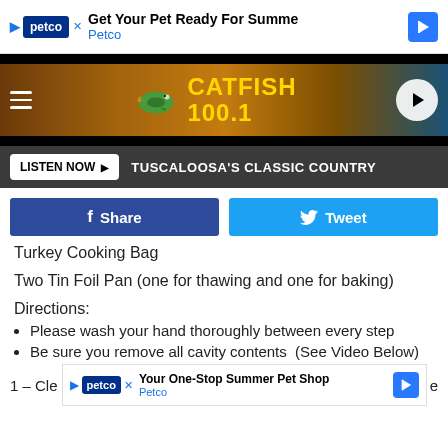[Figure (screenshot): Petco advertisement banner at top: 'Get Your Pet Ready For Summe / Petco' with Petco logo and navigation arrow icon]
[Figure (screenshot): Catfish 100.1 radio station header with catfish logo, yellow text 'CATFISH 100.1' on brown/nature background, hamburger menu left, play button right]
[Figure (screenshot): Dark gray bar with 'LISTEN NOW' button and text 'TUSCALOOSA'S CLASSIC COUNTRY']
[Figure (screenshot): Facebook Share button (dark blue) and Twitter Tweet button (light blue)]
Turkey Cooking Bag
Two Tin Foil Pan (one for thawing and one for baking)
Directions:
Please wash your hand thoroughly between every step
Be sure you remove all cavity contents  (See Video Below)
1 – Cle
[Figure (screenshot): Petco advertisement banner at bottom: 'Your One-Stop Summer Pet Shop / Petco' with logo and navigation arrow icon]